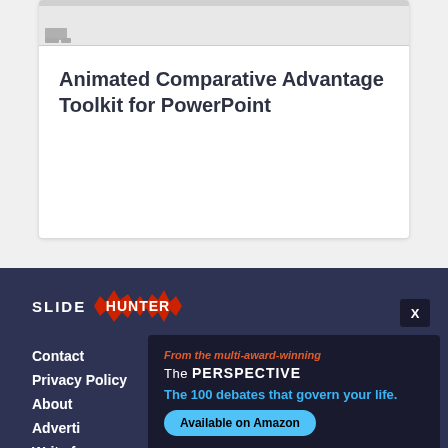[Figure (screenshot): Screenshot thumbnail of a PowerPoint presentation interface showing toolbar area]
Animated Comparative Advantage Toolkit for PowerPoint
[Figure (logo): SlideHunter logo with SLIDE text and HUNTER in red badge shape]
Contact
Privacy Policy
About
Adverti...
Write f...
From the multi-award-winning The PERSPECTIVE The 100 debates that govern your life. Available on Amazon